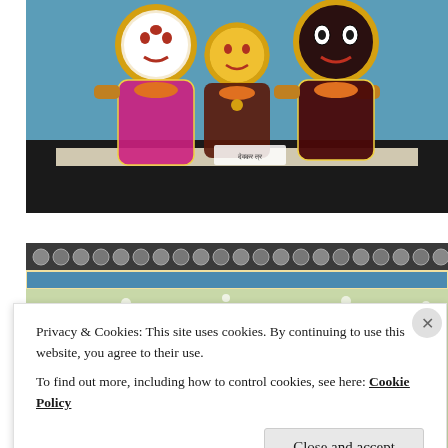[Figure (photo): Three Hindu deity statues (Jagannath, Subhadra, Balabhadra) dressed in colorful traditional clothing with ornate circular faces, orange garlands, displayed on a table with a blue background.]
[Figure (photo): Decorative embroidered or painted fabric/panel with colorful floral and geometric patterns in green, blue, yellow, red and white, with beaded or sequined embellishments.]
Privacy & Cookies: This site uses cookies. By continuing to use this website, you agree to their use.
To find out more, including how to control cookies, see here: Cookie Policy
Close and accept